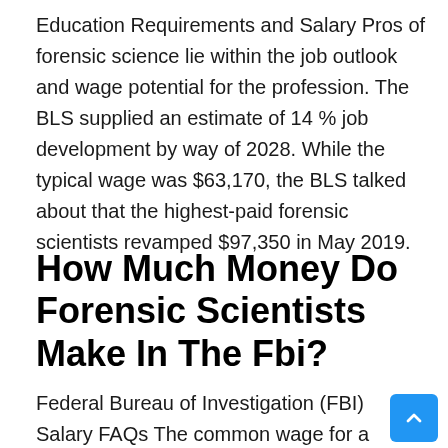Education Requirements and Salary Pros of forensic science lie within the job outlook and wage potential for the profession. The BLS supplied an estimate of 14 % job development by way of 2028. While the typical wage was $63,170, the BLS talked about that the highest-paid forensic scientists revamped $97,350 in May 2019.
How Much Money Do Forensic Scientists Make In The Fbi?
Federal Bureau of Investigation (FBI) Salary FAQs The common wage for a Forensic Scientist I Forensic Biology is $54,832 per yr in United States